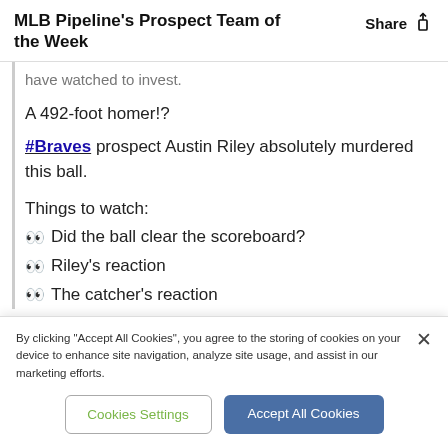MLB Pipeline's Prospect Team of the Week
have watched to invest.
A 492-foot homer!?
#Braves prospect Austin Riley absolutely murdered this ball.
Things to watch:
👀 Did the ball clear the scoreboard?
👀 Riley's reaction
👀 The catcher's reaction
By clicking "Accept All Cookies", you agree to the storing of cookies on your device to enhance site navigation, analyze site usage, and assist in our marketing efforts.